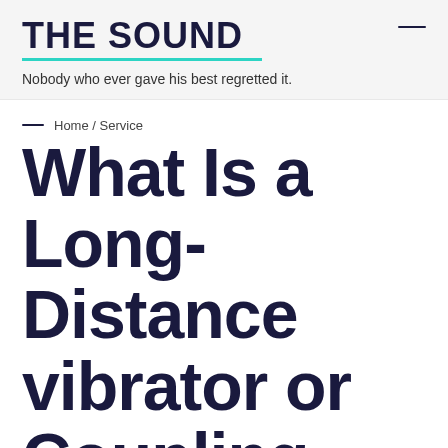THE SOUND
Nobody who ever gave his best regretted it.
Home / Service
What Is a Long-Distance vibrator or Coupling Toy?
Service